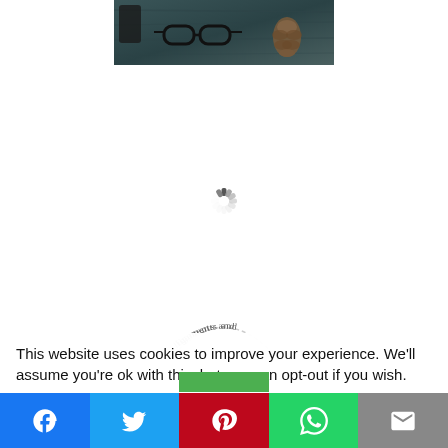[Figure (photo): A flat-lay photo of glasses, a mobile phone, and a pine cone on a dark wooden surface with teal/dark grey tones.]
[Figure (other): A loading spinner icon (radial dashes arranged in a circle).]
[Figure (other): A partial circular badge/logo with text reading 'ligaments and' along the arc.]
This website uses cookies to improve your experience. We'll assume you're ok with this, but you can opt-out if you wish.
[Figure (infographic): Social sharing bar with five buttons: Facebook (blue), Twitter (light blue), Pinterest (red), WhatsApp (green), Email (grey).]